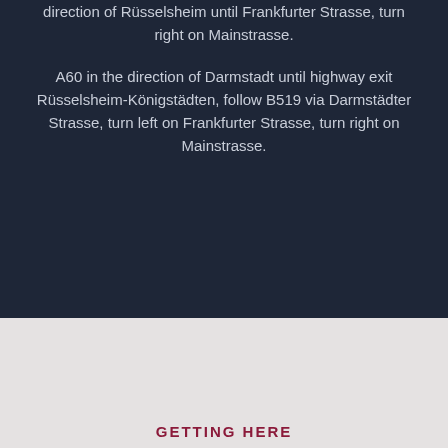direction of Rüsselsheim until Frankfurter Strasse, turn right on Mainstrasse.
A60 in the direction of Darmstadt until highway exit Rüsselsheim-Königstädten, follow B519 via Darmstädter Strasse, turn left on Frankfurter Strasse, turn right on Mainstrasse.
GETTING HERE